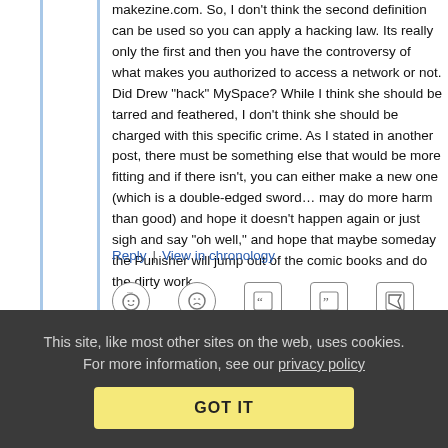makezine.com. So, I don't think the second definition can be used so you can apply a hacking law. Its really only the first and then you have the controversy of what makes you authorized to access a network or not. Did Drew "hack" MySpace? While I think she should be tarred and feathered, I don't think she should be charged with this specific crime. As I stated in another post, there must be something else that would be more fitting and if there isn't, you can either make a new one (which is a double-edged sword… may do more harm than good) and hope it doesn't happen again or just sigh and say "oh well," and hope that maybe someday the Punisher will jump out of the comic books and do the dirty work.
Reply | View in chronology
[Figure (other): Row of comment action icons: emoji face with ellipsis (reaction), grimace face, open quote icon, close quote icon, flag icon]
This site, like most other sites on the web, uses cookies. For more information, see our privacy policy
GOT IT